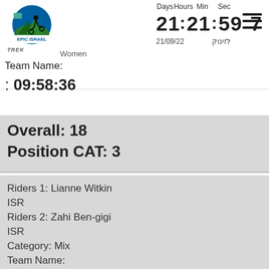[Figure (logo): Epic Israel mountain biking event logo with cyclist silhouette, circular design]
Days  Hours  Min  Sec
21 : 21 : 59 : 7
21/09/22   לזינוק
Women
Team Name:
: 09:58:36
Overall: 18
Position CAT: 3
Riders 1: Lianne Witkin
ISR
Riders 2: Zahi Ben-gigi
ISR
Category: Mix
Team Name: